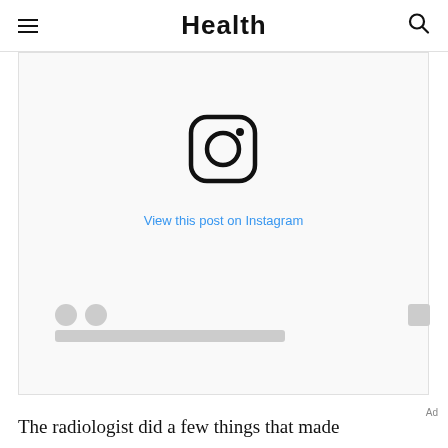Health
[Figure (screenshot): Instagram embed placeholder showing the Instagram logo and a 'View this post on Instagram' link in blue, with reaction icons and a placeholder bar at the bottom]
Ad
The radiologist did a few things that made